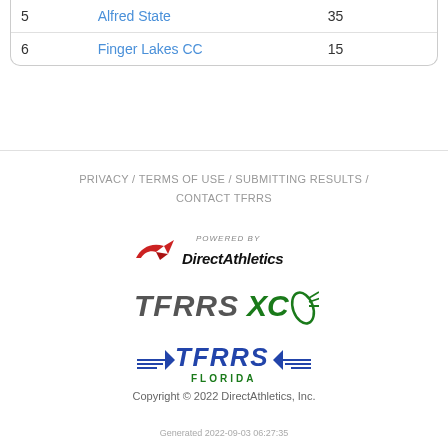|  |  |  |
| --- | --- | --- |
| 5 | Alfred State | 35 |
| 6 | Finger Lakes CC | 15 |
PRIVACY / TERMS OF USE / SUBMITTING RESULTS / CONTACT TFRRS
[Figure (logo): Powered by Direct Athletics logo with red swoosh icon]
[Figure (logo): TFRRS XC logo with green cross country winged text]
[Figure (logo): TFRRS Florida logo with blue winged text and Florida subtitle]
Copyright © 2022 DirectAthletics, Inc.
Generated 2022-09-03 06:27:35